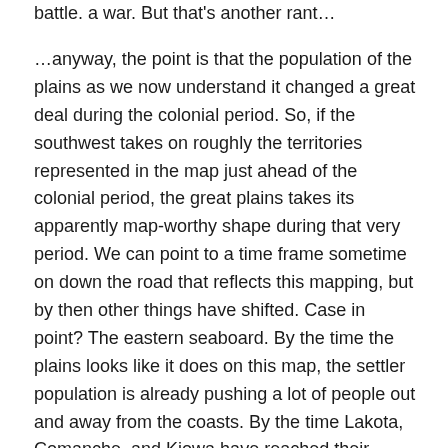battle. a war. But that's another rant…
…anyway, the point is that the population of the plains as we now understand it changed a great deal during the colonial period. So, if the southwest takes on roughly the territories represented in the map just ahead of the colonial period, the great plains takes its apparently map-worthy shape during that very period. We can point to a time frame sometime on down the road that reflects this mapping, but by then other things have shifted. Case in point? The eastern seaboard. By the time the plains looks like it does on this map, the settler population is already pushing a lot of people out and away from the coasts. By the time Lakota, Comanche, and Kiowa have reached their positions on this map, the eastern seaboard should already be looking a bit white-washed.